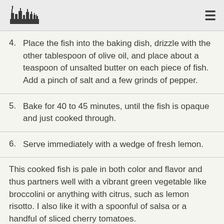4. Place the fish into the baking dish, drizzle with the other tablespoon of olive oil, and place about a teaspoon of unsalted butter on each piece of fish. Add a pinch of salt and a few grinds of pepper.
5. Bake for 40 to 45 minutes, until the fish is opaque and just cooked through.
6. Serve immediately with a wedge of fresh lemon.
This cooked fish is pale in both color and flavor and thus partners well with a vibrant green vegetable like broccolini or anything with citrus, such as lemon risotto. I also like it with a spoonful of salsa or a handful of sliced cherry tomatoes.